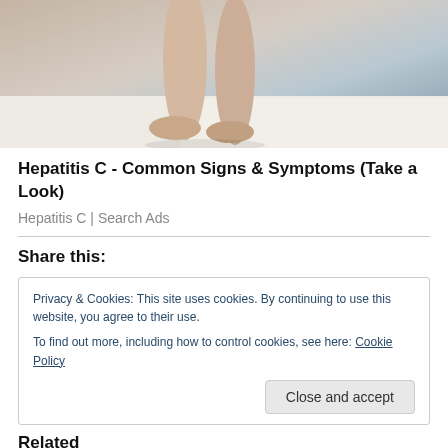[Figure (photo): Partial view of a person's legs and feet on a light rug/carpet with grey-blue background, cropped at top]
Hepatitis C - Common Signs & Symptoms (Take a Look)
Hepatitis C | Search Ads
Share this:
Privacy & Cookies: This site uses cookies. By continuing to use this website, you agree to their use.
To find out more, including how to control cookies, see here: Cookie Policy
Close and accept
Related